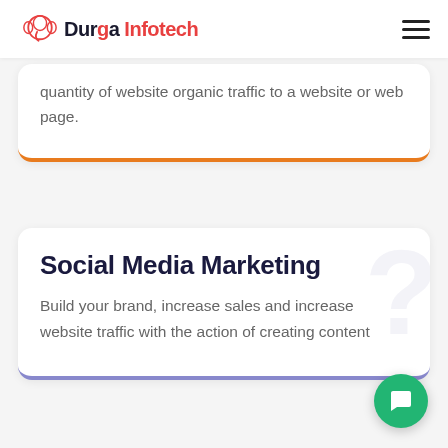Durga Infotech
quantity of website organic traffic to a website or web page.
Social Media Marketing
Build your brand, increase sales and increase website traffic with the action of creating content